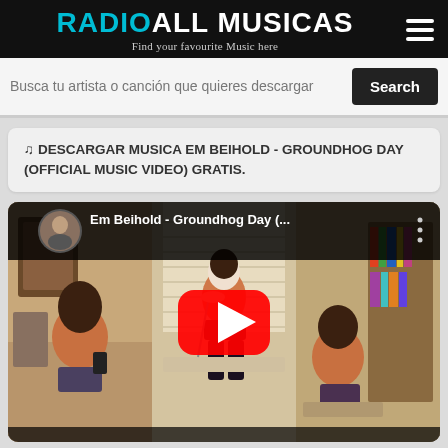RADIOALL MUSICAS - Find your favourite Music here
Busca tu artista o canción que quieres descargar
♫ DESCARGAR MUSICA EM BEIHOLD - GROUNDHOG DAY (OFFICIAL MUSIC VIDEO) GRATIS.
[Figure (screenshot): YouTube video thumbnail for Em Beihold - Groundhog Day (Official Music Video). Shows a young woman in a bedroom scene repeated three times, with a large YouTube play button (red circle with white triangle) in the center. Top-left shows channel avatar and video title 'Em Beihold - Groundhog Day (...)']